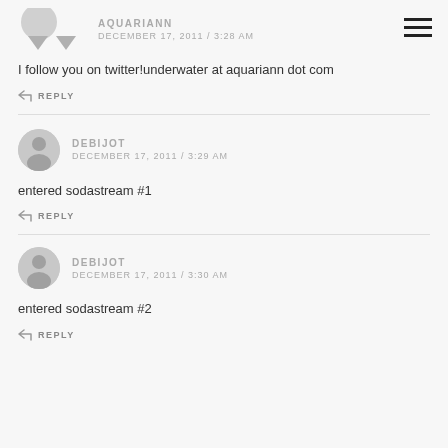[Figure (other): Hamburger menu icon (three horizontal bars) in top right corner]
AQUARIANN
DECEMBER 17, 2011 / 3:28 AM
I follow you on twitter!underwater at aquariann dot com
REPLY
DEBIJOT
DECEMBER 17, 2011 / 3:29 AM
entered sodastream #1
REPLY
DEBIJOT
DECEMBER 17, 2011 / 3:30 AM
entered sodastream #2
REPLY